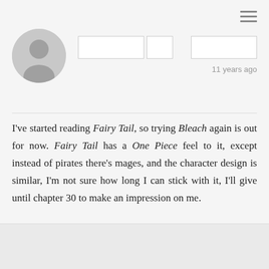[Figure (illustration): User avatar placeholder silhouette icon in circular frame, gray tones, top section]
[Figure (screenshot): UI button group with dropdown and Options button, top section]
11 years ago
I've started reading Fairy Tail, so trying Bleach again is out for now. Fairy Tail has a One Piece feel to it, except instead of pirates there's mages, and the character design is similar, I'm not sure how long I can stick with it, I'll give until chapter 30 to make an impression on me.
[Figure (illustration): User avatar placeholder silhouette icon in circular frame, gray tones, bottom section]
[Figure (screenshot): UI button group showing 'alyseharleton' with dropdown arrow and Options button with dropdown arrow, bottom section]